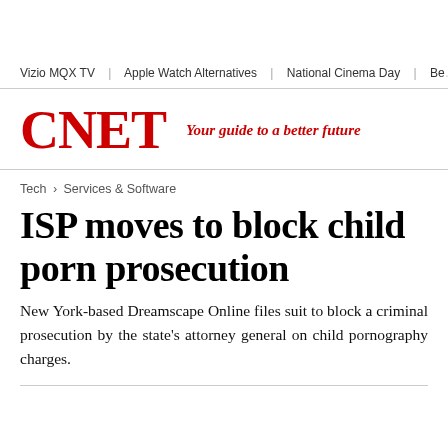Vizio MQX TV  |  Apple Watch Alternatives  |  National Cinema Day  |  Be…
[Figure (logo): CNET logo in red with tagline 'Your guide to a better future']
Tech > Services & Software
ISP moves to block child porn prosecution
New York-based Dreamscape Online files suit to block a criminal prosecution by the state's attorney general on child pornography charges.